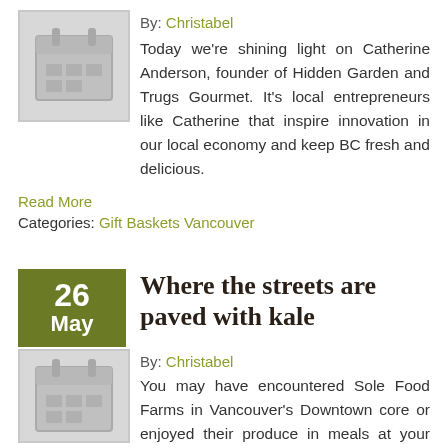By: Christabel
Today we're shining light on Catherine Anderson, founder of Hidden Garden and Trugs Gourmet. It's local entrepreneurs like Catherine that inspire innovation in our local economy and keep BC fresh and delicious.
Read More
Categories: Gift Baskets Vancouver
Where the streets are paved with kale
By: Christabel
You may have encountered Sole Food Farms in Vancouver's Downtown core or enjoyed their produce in meals at your favourite local restaurant.